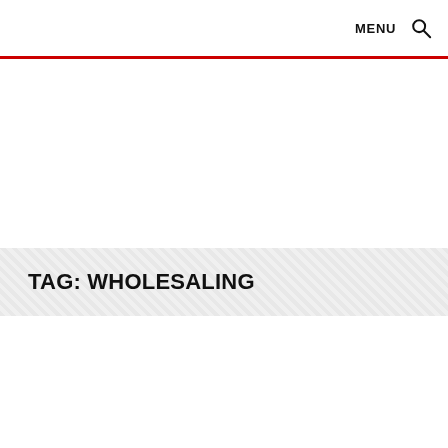MENU 🔍
TAG: WHOLESALING
VIDEOS